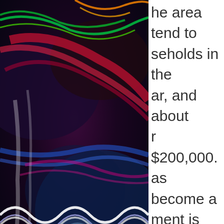[Figure (photo): Abstract colorful light streaks photograph with blues, reds, greens, and yellows on dark background — appears to be long-exposure city lights or neon light painting]
he area tend to
seholds in the
ar, and about
r $200,000.
as become a
ment is low,
ne last five
rable 5.3%
[Figure (logo): Putnam Investments logo — circular scale of justice icon with Putnam in large bold text and INVESTMENTS in small caps below]
ue Fund PEIYX
ating™ as of 6/30/22 among 1,145 funds in the
djusted returns).